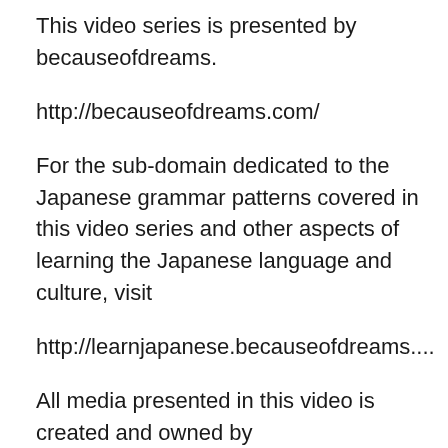This video series is presented by becauseofdreams.
http://becauseofdreams.com/
For the sub-domain dedicated to the Japanese grammar patterns covered in this video series and other aspects of learning the Japanese language and culture, visit
http://learnjapanese.becauseofdreams....
All media presented in this video is created and owned by becauseofdreams or is used with complete permissions.